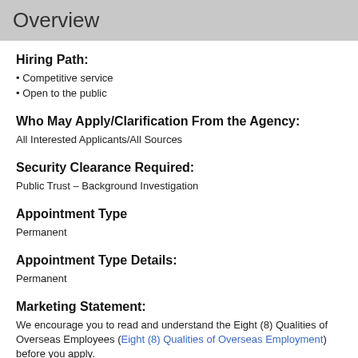Overview
Hiring Path:
• Competitive service
• Open to the public
Who May Apply/Clarification From the Agency:
All Interested Applicants/All Sources
Security Clearance Required:
Public Trust – Background Investigation
Appointment Type
Permanent
Appointment Type Details:
Permanent
Marketing Statement:
We encourage you to read and understand the Eight (8) Qualities of Overseas Employees (Eight (8) Qualities of Overseas Employment) before you apply.
Summary:
The U.S. Mission in Kabul is seeking eligible and qualified applicants for